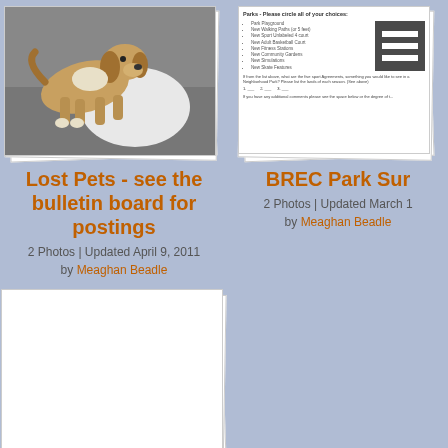[Figure (photo): Photo of a golden/beige dog lying on pavement next to a person, displayed in a stacked photo style]
Lost Pets - see the bulletin board for postings
2 Photos | Updated April 9, 2011
by Meaghan Beadle
[Figure (screenshot): Document/survey form with a list of checkboxes and a menu icon overlay, partially visible]
BREC Park Sur
2 Photos | Updated March 1
by Meaghan Beadle
[Figure (photo): Blank white stacked paper/photo placeholder]
Sneaux Day!